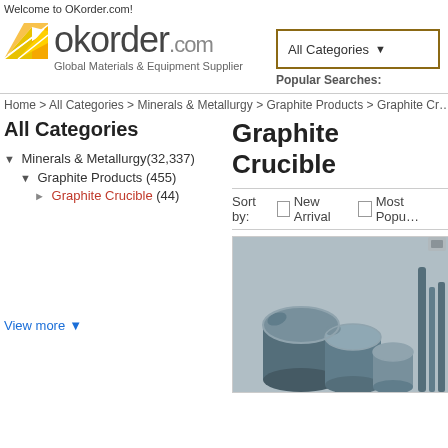Welcome to OKorder.com!
[Figure (logo): OKorder.com logo with yellow arrow icon and tagline 'Global Materials & Equipment Supplier']
All Categories ▼
Popular Searches:
Home > All Categories > Minerals & Metallurgy > Graphite Products > Graphite Crucible
All Categories
Minerals & Metallurgy(32,337)
Graphite Products (455)
Graphite Crucible (44)
View more ▼
Graphite Crucible
Sort by:  New Arrival  Most Popular
[Figure (photo): Photo of graphite crucibles - dark grey cylindrical containers of various sizes grouped together]